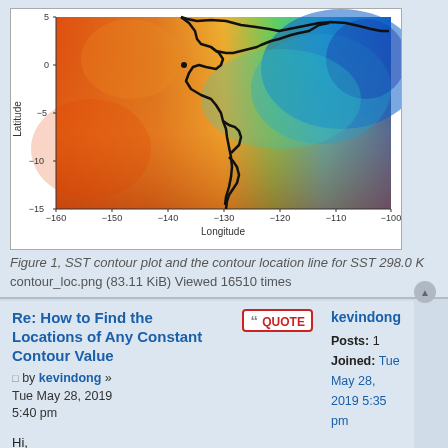[Figure (continuous-plot): SST contour plot showing sea surface temperature color map over the Pacific Ocean region, latitude from -15 to 5, longitude from -160 to -100. A black contour line marks the SST 298.0 K isoline. Colors range from orange/red (warm) in the west/south to blue/cyan (cool) in the northeast.]
Figure 1, SST contour plot and the contour location line for SST 298.0 K
contour_loc.png (83.11 KiB) Viewed 16510 times
Re: How to Find the Locations of Any Constant Contour Value
by kevindong » Tue May 28, 2019 5:40 pm
Hi,
I ran the data recipe and I've been having some difficulties with the plotting part of the contour plot.
Image link below:
https://drive.google.com/file/d/1ymtDRc...sp=sharing